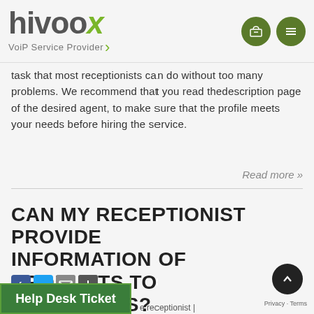[Figure (logo): hivoox VoiP Service Provider logo with green chevron accent]
task that most receptionists can do without too many problems. We recommend that you read thedescription page of the desired agent, to make sure that the profile meets your needs before hiring the service.
Read more »
CAN MY RECEPTIONIST PROVIDE INFORMATION OF PRODUCTS TO CUSTOMERS?
[Figure (other): Social share buttons: Facebook, Twitter, Email, Plus]
Help Desk Ticket
e receptionist |
Privacy · Terms